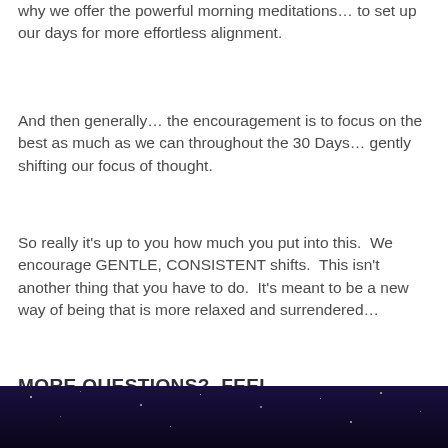why we offer the powerful morning meditations… to set up our days for more effortless alignment.
And then generally… the encouragement is to focus on the best as much as we can throughout the 30 Days… gently shifting our focus of thought.
So really it's up to you how much you put into this.  We encourage GENTLE, CONSISTENT shifts.  This isn't another thing that you have to do.  It's meant to be a new way of being that is more relaxed and surrendered…
MORE QUESTIONS?  FEEL WELCOME TO CONTACT TASH
JOIN US! CLICK HERE TO PURCHASE T…
[Figure (other): Dark starry night sky background image at bottom of page]